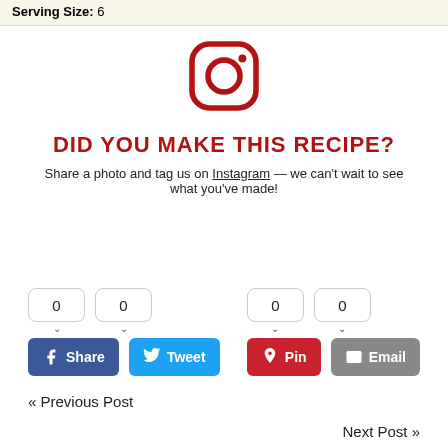Serving Size: 6
[Figure (logo): Instagram logo icon in dark red/crimson outline style]
DID YOU MAKE THIS RECIPE?
Share a photo and tag us on Instagram — we can't wait to see what you've made!
0  0  0  0 (share counters) Share Tweet Pin Email
« Previous Post
Next Post »